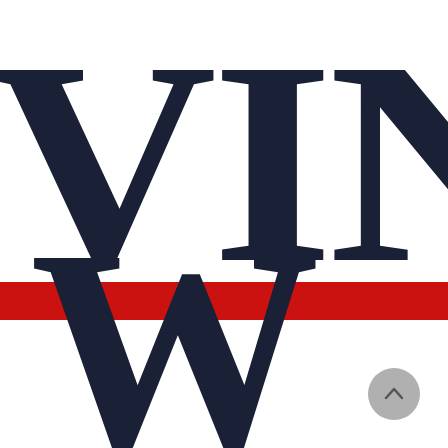[Figure (logo): Partial view of a logo showing large dark navy serif letters 'VIN' on top row, a red horizontal bar/stripe in the middle, and a large dark navy serif letter 'W' on the bottom row. The letters are cropped at the right edge. A grey circular scroll-to-top button is visible in the bottom right corner.]